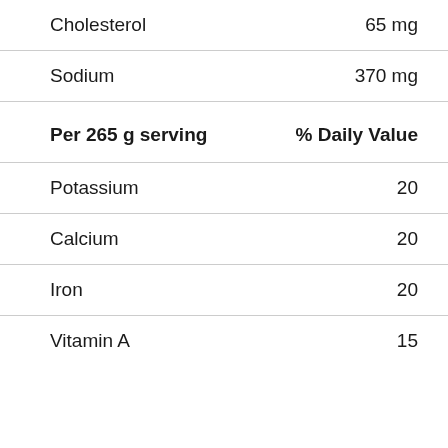| Nutrient | Amount/Value |
| --- | --- |
| Cholesterol | 65 mg |
| Sodium | 370 mg |
| Per 265 g serving | % Daily Value |
| Potassium | 20 |
| Calcium | 20 |
| Iron | 20 |
| Vitamin A | 15 |